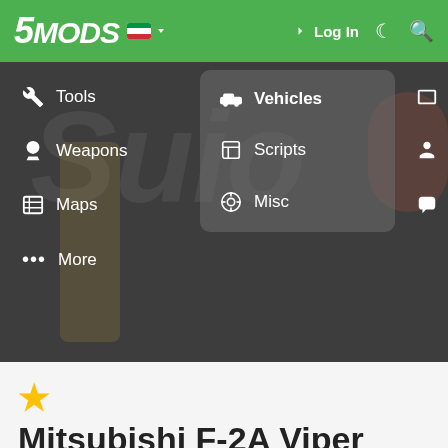[Figure (screenshot): 5MODS website navigation bar with green background showing logo '5MODS', language flag, Log In button, moon icon, and search icon]
[Figure (screenshot): Dropdown navigation menu overlay on dark game screenshot background showing: Tools, Weapons, Maps, More in left column; Vehicles (highlighted), Scripts, Misc in center column; Paint Jobs, Player, Forums in right column]
★ Mitsubishi F-2A Viper Zero [Add-On] 1.0